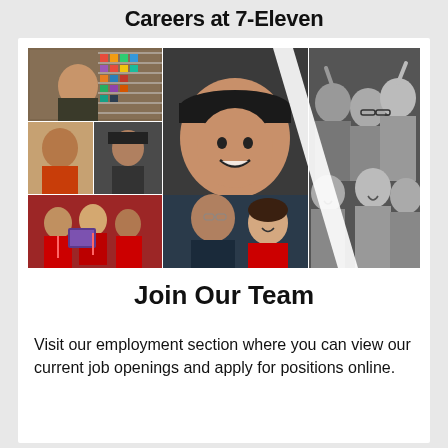Careers at 7-Eleven
[Figure (photo): Collage of 7-Eleven employees and team members: store employees smiling in aisles, a woman in a black cap and uniform, group of smiling people at an event (black and white), two small photos of staff, workers in red uniforms with tablets, and a young man with a girl in red uniform.]
Join Our Team
Visit our employment section where you can view our current job openings and apply for positions online.